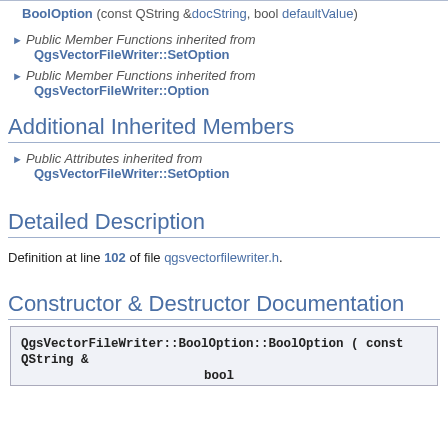BoolOption (const QString &docString, bool defaultValue)
Public Member Functions inherited from QgsVectorFileWriter::SetOption
Public Member Functions inherited from QgsVectorFileWriter::Option
Additional Inherited Members
Public Attributes inherited from QgsVectorFileWriter::SetOption
Detailed Description
Definition at line 102 of file qgsvectorfilewriter.h.
Constructor & Destructor Documentation
QgsVectorFileWriter::BoolOption::BoolOption ( const QString & bool